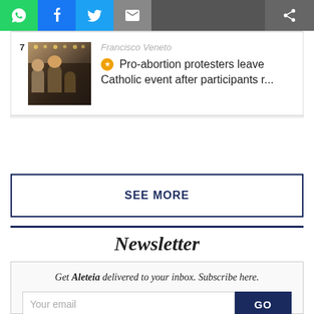[Figure (other): Social share bar with WhatsApp (green), Facebook (blue), Twitter (light blue), email (grey), and generic share (grey) buttons]
[Figure (photo): Thumbnail photo for article 7 about pro-abortion protesters leaving Catholic event]
Francisco Veneto
Pro-abortion protesters leave Catholic event after participants r...
SEE MORE
Newsletter
Get Aleteia delivered to your inbox. Subscribe here.
Your email
GO
Yes, I would like to receive information from Aleteia partners.